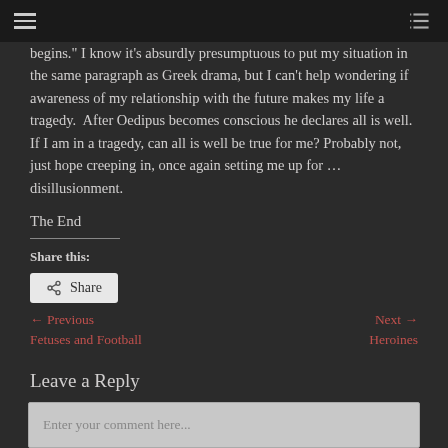begins." I know it's absurdly presumptuous to put my situation in the same paragraph as Greek drama, but I can't help wondering if awareness of my relationship with the future makes my life a tragedy. After Oedipus becomes conscious he declares all is well. If I am in a tragedy, can all is well be true for me? Probably not, just hope creeping in, once again setting me up for … disillusionment.
The End
Share this:
Share
← Previous
Fetuses and Football
Next →
Heroines
Leave a Reply
Enter your comment here...